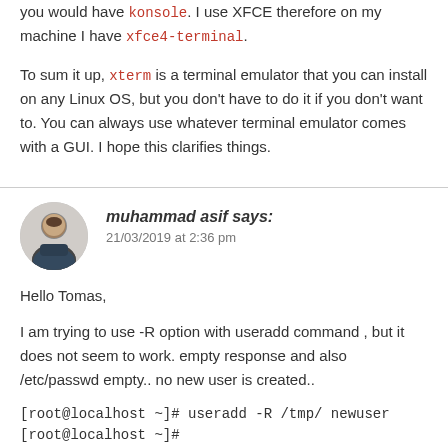you would have konsole. I use XFCE therefore on my machine I have xfce4-terminal.
To sum it up, xterm is a terminal emulator that you can install on any Linux OS, but you don't have to do it if you don't want to. You can always use whatever terminal emulator comes with a GUI. I hope this clarifies things.
muhammad asif says:
21/03/2019 at 2:36 pm
Hello Tomas,
I am trying to use -R option with useradd command , but it does not seem to work. empty response and also /etc/passwd empty.. no new user is created..
[root@localhost ~]# useradd -R /tmp/ newuser
[root@localhost ~]#
My digiit blacks with linux seems to send some..